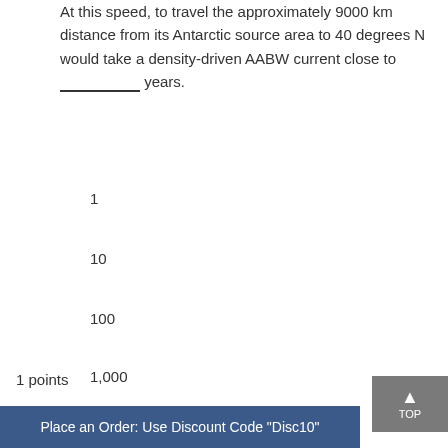At this speed, to travel the approximately 9000 km distance from its Antarctic source area to 40 degrees N would take a density-driven AABW current close to ________ years.
1
10
100
1,000
10,000
1 points